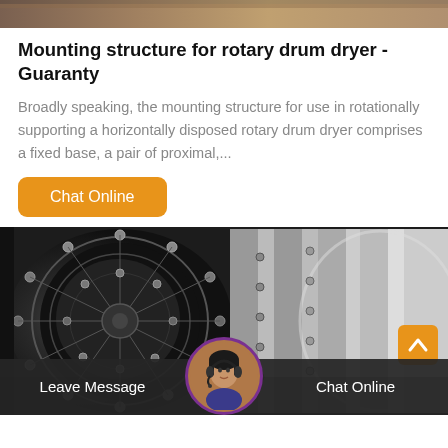[Figure (photo): Top portion of a rotary drum dryer industrial machine, partially cropped at top of page]
Mounting structure for rotary drum dryer - Guaranty
Broadly speaking, the mounting structure for use in rotationally supporting a horizontally disposed rotary drum dryer comprises a fixed base, a pair of proximal,...
[Figure (other): Orange rounded rectangle button labeled 'Chat Online']
[Figure (photo): Close-up photograph of the interior of a rotary drum dryer showing cylindrical drum with metallic pins/lifters and corrugated metal exterior shell]
[Figure (other): Orange square button with upward chevron/caret arrow (scroll to top button) in bottom right of photo]
[Figure (other): Dark semi-transparent bottom bar with 'Leave Message' on left, customer service agent avatar in center, 'Chat Online' on right]